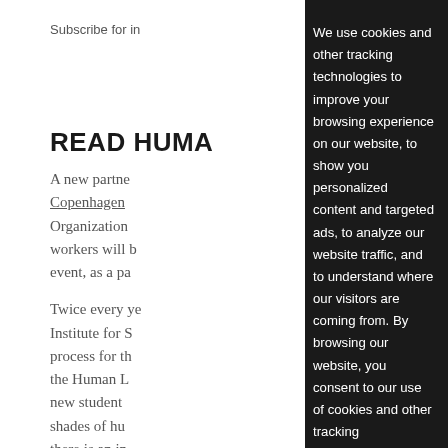Subscribe for in
READ HUMA
A new partne Copenhagen Organization workers will b event, as a pa
Twice every ye Institute for S process for th the Human L new student shades of hu there is an in understandin
"It is part of a fulfilled and a agreement e
We use cookies and other tracking technologies to improve your browsing experience on our website, to show you personalized content and targeted ads, to analyze our website traffic, and to understand where our visitors are coming from. By browsing our website, you consent to our use of cookies and other tracking technologies.
I agree
Change my preferences